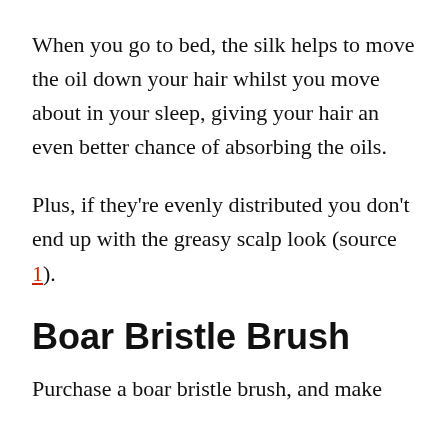When you go to bed, the silk helps to move the oil down your hair whilst you move about in your sleep, giving your hair an even better chance of absorbing the oils.
Plus, if they're evenly distributed you don't end up with the greasy scalp look (source 1).
Boar Bristle Brush
Purchase a boar bristle brush, and make